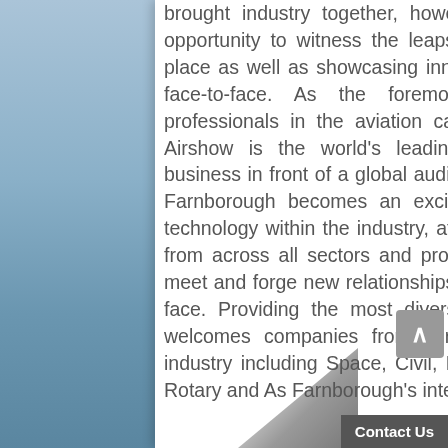brought industry together, however, FIA2022 will be a strategic opportunity to witness the leaps in development that have taken place as well as showcasing innovation to a truly global audience, face-to-face. As the foremost meeting place of industry professionals in the aviation calendar, Farnborough International Airshow is the world's leading platform for showcasing your business in front of a global audience. For 5 days in July biennially, Farnborough becomes an exciting hub for the most innovative technology within the industry, attracting market-leading companies from across all sectors and providing an unrivalled opportunity to meet and forge new relationships with key decision makers face-to-face. Providing the most diverse range of exhibitors, the show welcomes companies from core sectors across the aerospace industry including Space, Civil, Military, Manufacturing Technology, Rotary and As Farnborough's international status